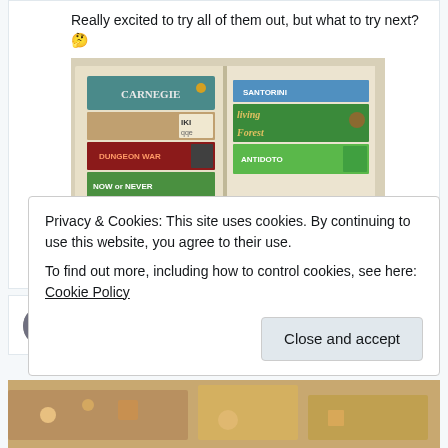Really excited to try all of them out, but what to try next? 🤔
[Figure (photo): Two white shelf compartments containing stacked board game boxes including Carnegie, Iki, Dungeon Alliance, Now or Never, Santorini, Living Forest, and Antidoto]
💬 21   ♡ 36
Peter (Tabletop Tog...  @T...  · Aug 13
Privacy & Cookies: This site uses cookies. By continuing to use this website, you agree to their use.
To find out more, including how to control cookies, see here: Cookie Policy
Close and accept